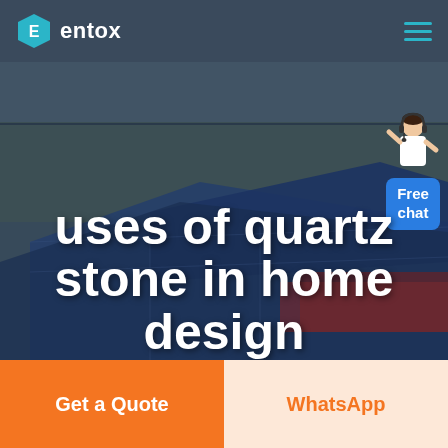entox
[Figure (screenshot): Aerial view of a large industrial facility with blue rooftop structures. The background is overlaid with a dark semi-transparent layer. A customer service representative figure appears at the top right.]
uses of quartz stone in home design
Free chat
Get a Quote
WhatsApp